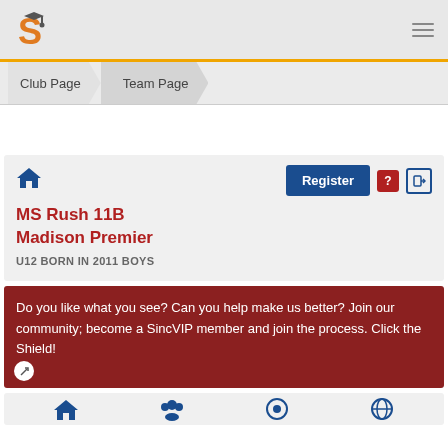S (logo) — hamburger menu
Club Page | Team Page
MS Rush 11B Madison Premier
U12 BORN IN 2011 BOYS
Do you like what you see? Can you help make us better? Join our community; become a SincVIP member and join the process. Click the Shield!